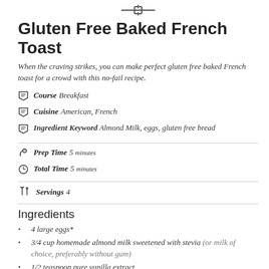[Figure (illustration): Fork and knife utensil icon at top center]
Gluten Free Baked French Toast
When the craving strikes, you can make perfect gluten free baked French toast for a crowd with this no-fail recipe.
Course Breakfast
Cuisine American, French
Ingredient Keyword Almond Milk, eggs, gluten free bread
Prep Time 5 minutes
Total Time 5 minutes
Servings 4
Ingredients
4 large eggs*
3/4 cup homemade almond milk sweetened with stevia (or milk of choice, preferably without gum)
1/2 teaspoon pure vanilla extract